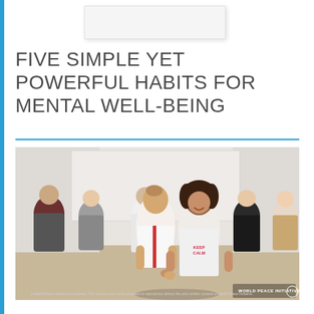[Figure (other): Small white rectangular box at top center, appears to be a logo or image placeholder with light shadow]
FIVE SIMPLE YET POWERFUL HABITS FOR MENTAL WELL-BEING
[Figure (photo): Group of young adults in a bright room. Two women in the center appear to be holding hands or doing a paired activity, both smiling. One wears a white tank top with red stripes, the other wears a white t-shirt with 'KEEP CALM' text. Several people stand in the background watching, including a man in a white t-shirt with a badge, a woman in a grey top, and others. World Peace Initiative logo in bottom right corner.]